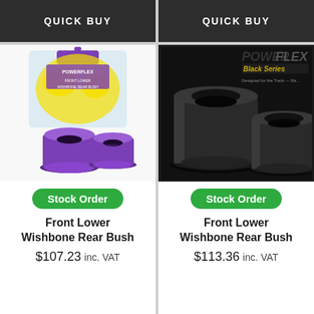QUICK BUY
QUICK BUY
[Figure (photo): Purple Powerflex front lower wishbone rear bush set in retail packaging with yellow accents]
Stock Order
Front Lower Wishbone Rear Bush
$107.23 inc. VAT
[Figure (photo): Black series Powerflex front lower wishbone rear bush set, two cylindrical black bushes on dark background with Powerflex Black Series logo]
Stock Order
Front Lower Wishbone Rear Bush
$113.36 inc. VAT